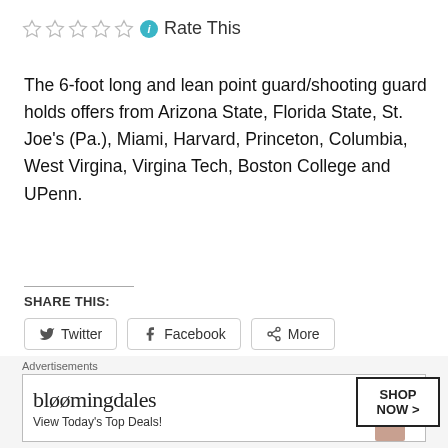[Figure (infographic): Star rating widget with 5 empty stars, an info icon (teal circle with i), and 'Rate This' text]
The 6-foot long and lean point guard/shooting guard holds offers from Arizona State, Florida State, St. Joe's (Pa.), Miami, Harvard, Princeton, Columbia, West Virgina, Virgina Tech, Boston College and UPenn.
SHARE THIS:
[Figure (infographic): Social share buttons: Twitter, Facebook, More]
Loading…
tagged arizona state womens' basketball, blair academy girl's
[Figure (infographic): Bloomingdales advertisement banner: 'bloomingdales View Today's Top Deals!' with a woman in a hat and 'SHOP NOW >' button]